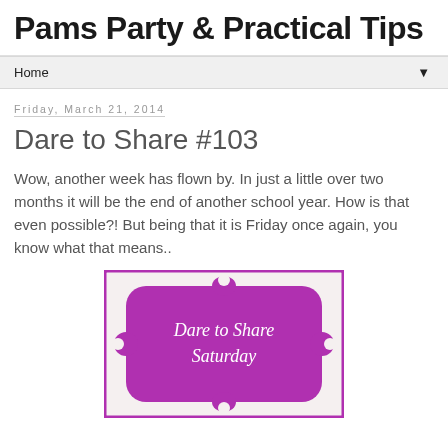Pams Party & Practical Tips
Home
Friday, March 21, 2014
Dare to Share #103
Wow, another week has flown by.  In just a little over two months it will be the end of another school year. How is that even possible?!   But being that it is Friday once  again, you know what that means..
[Figure (illustration): A decorative badge/label graphic with a purple border on a cream background. Inside is a purple ornamental shape containing the text 'Dare to Share Saturday' in white italic serif font.]